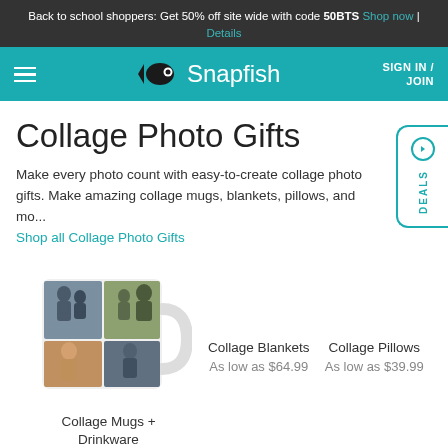Back to school shoppers: Get 50% off site wide with code 50BTS Shop now | Details
[Figure (logo): Snapfish logo with fish icon on teal navigation bar with hamburger menu and SIGN IN / JOIN]
Collage Photo Gifts
Make every photo count with easy-to-create collage photo gifts. Make amazing collage mugs, blankets, pillows, and mo... Shop all Collage Photo Gifts
[Figure (photo): Collage photo mug with multiple family photos on it]
Collage Mugs + Drinkware
Collage Blankets
As low as $64.99
Collage Pillows
As low as $39.99